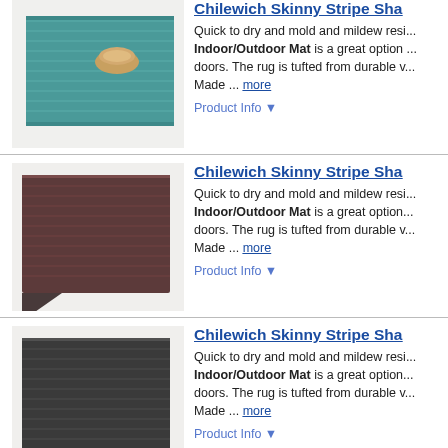[Figure (photo): Teal/blue indoor outdoor mat with a small bowl on top]
Chilewich Skinny Stripe Sha...
Quick to dry and mold and mildew resi... Indoor/Outdoor Mat is a great option ... doors. The rug is tufted from durable v... Made ... more
Product Info ▼
[Figure (photo): Dark brown/purple striped indoor outdoor mat folded at corner]
Chilewich Skinny Stripe Sha...
Quick to dry and mold and mildew resi... Indoor/Outdoor Mat is a great option... doors. The rug is tufted from durable v... Made ... more
Product Info ▼
[Figure (photo): Dark gray/black striped indoor outdoor mat folded at corner]
Chilewich Skinny Stripe Sha...
Quick to dry and mold and mildew resi... Indoor/Outdoor Mat is a great option... doors. The rug is tufted from durable v... Made ... more
Product Info ▼
[Figure (photo): Dark blue marbled stripe mat displayed flat]
Chilewich Marbled Stripe Sha...
With a backing of hardworking vinyl, th... outdoor terraces, pool areas, and entr... Marbled Bay Blue | Chilewich Marbled... Synthetics, ... more
Product Info ▼
Chilewich Bold Stripe Sha...